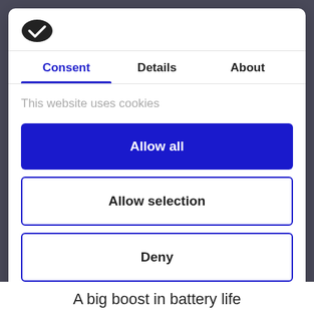[Figure (logo): Cookiebot logo — dark oval shape with white checkmark]
Consent	Details	About
This website uses cookies
Allow all
Allow selection
Deny
Powered by Cookiebot by Usercentrics
A big boost in battery life